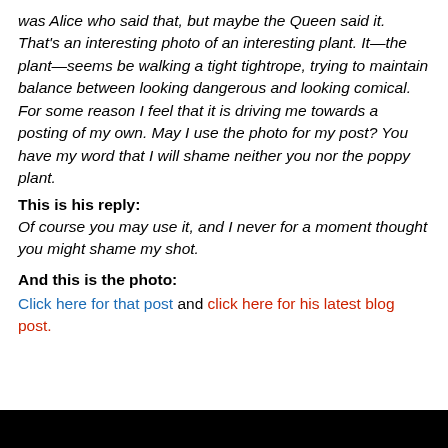was Alice who said that, but maybe the Queen said it. That's an interesting photo of an interesting plant. It—the plant—seems be walking a tight tightrope, trying to maintain balance between looking dangerous and looking comical. For some reason I feel that it is driving me towards a posting of my own. May I use the photo for my post? You have my word that I will shame neither you nor the poppy plant.
This is his reply:
Of course you may use it, and I never for a moment thought you might shame my shot.
And this is the photo:
Click here for that post and click here for his latest blog post.
[Figure (photo): Black image bar at bottom of page]